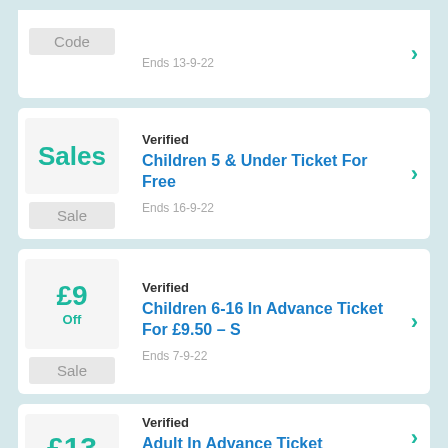Code | Ends 13-9-22
Verified
Children 5 & Under Ticket For Free
Ends 16-9-22
Verified
Children 6-16 In Advance Ticket For £9.50 - S
Ends 7-9-22
Verified
Adult In Advance Ticket